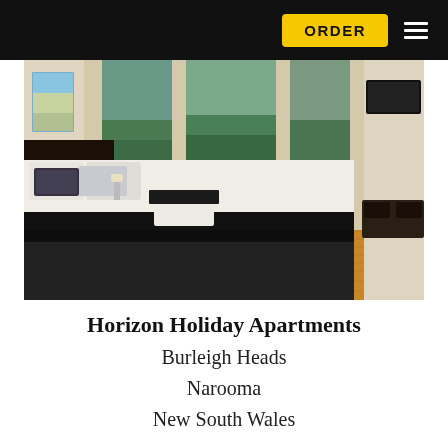ORDER
[Figure (photo): Interior bedroom photo of a holiday apartment: a large bed with white linen and dark throw, decorative pillows, floor-to-ceiling glass sliding doors opening to a balcony with tree views, a wall-mounted flat-screen TV, timber flooring, and a dark TV console unit.]
Horizon Holiday Apartments
Burleigh Heads
Narooma
New South Wales